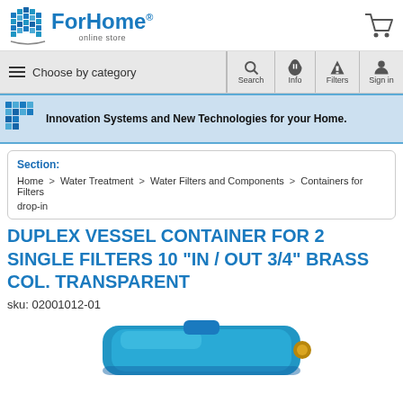[Figure (logo): ForHome online store logo with house icon and shopping cart]
[Figure (screenshot): Navigation bar with hamburger menu, Choose by category, Search, Info, Filters, Sign in icons]
[Figure (screenshot): Blue banner: Innovation Systems and New Technologies for your Home.]
Section:
Home > Water Treatment > Water Filters and Components > Containers for Filters drop-in
DUPLEX VESSEL CONTAINER FOR 2 SINGLE FILTERS 10 "IN / OUT 3/4" BRASS COL. TRANSPARENT
sku: 02001012-01
[Figure (photo): Blue duplex vessel container for water filters, partially visible at bottom of page]